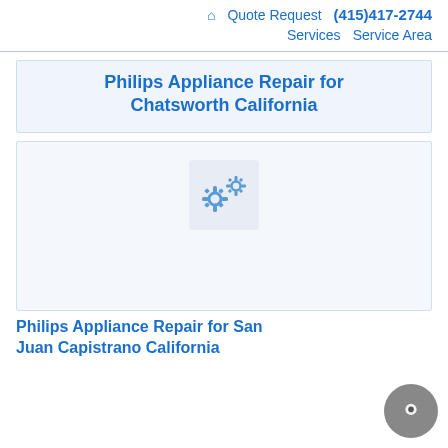🏠 Quote Request (415)417-2744 Services Service Area
Philips Appliance Repair for Chatsworth California
[Figure (illustration): Gear/settings icon placeholder image in a light blue rounded box]
Philips Appliance Repair for San Juan Capistrano California